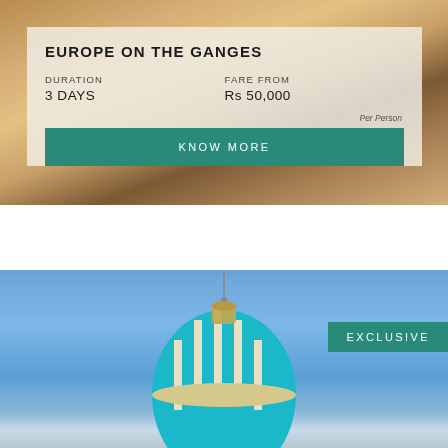[Figure (photo): Background photo of food/dining scene with warm tones, candles and dishes]
EUROPE ON THE GANGES
DURATION
3 DAYS
FARE FROM
Rs 50,000
Per Person
KNOW MORE
[Figure (photo): Blue sky background with ornate building dome featuring teal/turquoise ribbed segments, with EXCLUSIVE badge overlay]